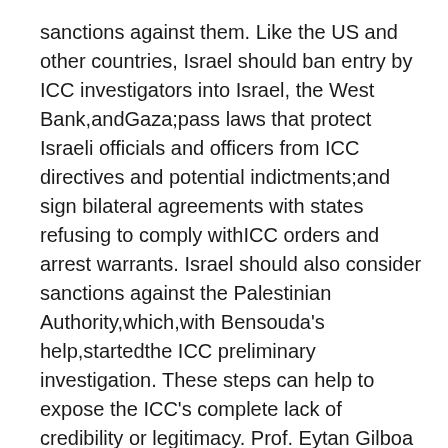sanctions against them. Like the US and other countries, Israel should ban entry by ICC investigators into Israel, the West Bank,andGaza;pass laws that protect Israeli officials and officers from ICC directives and potential indictments;and sign bilateral agreements with states refusing to comply withICC orders and arrest warrants. Israel should also consider sanctions against the Palestinian Authority,which,with Bensouda's help,startedthe ICC preliminary investigation. These steps can help to expose the ICC's complete lack of credibility or legitimacy. Prof. Eytan Gilboa teaches public diplomacy at the USC Center on Public Diplomacy in Los Angeles and a senior research associate at the BESA Center for Strategic Studies.eytan.gilboa@biu.ac.il
Eytan Gilboa <Eytan.Gilboa@biu.ac.il>
Mon 12/30/2019 2:13 PM